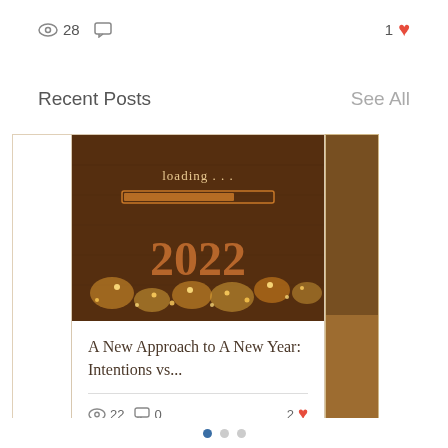28  [views]  [comment]  1 [heart]
Recent Posts
See All
[Figure (photo): Dark wooden background with string fairy lights and golden '2022' text with 'loading...' text and a loading bar graphic]
A New Approach to A New Year: Intentions vs...
22  0  2 [heart]
[Figure (photo): Partially visible second card image on right edge]
pagination dots: active, inactive, inactive